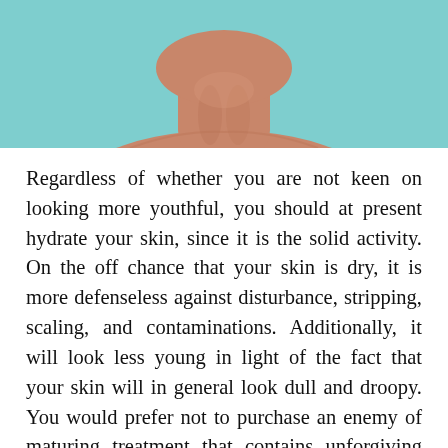[Figure (photo): Cropped photo of a person's neck and lower chin against a teal/turquoise background, viewed from slightly below]
Regardless of whether you are not keen on looking more youthful, you should at present hydrate your skin, since it is the solid activity. On the off chance that your skin is dry, it is more defenseless against disturbance, stripping, scaling, and contaminations. Additionally, it will look less young in light of the fact that your skin will in general look dull and droopy. You would prefer not to purchase an enemy of maturing treatment that contains unforgiving fixings, for example, alcohols, that can dry out your skin. All things being equal, you should purchase an enemy of anti aging treatment in pune with